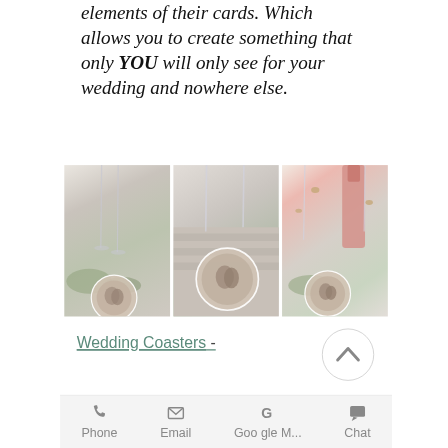elements of their cards. Which allows you to create something that only YOU will only see for your wedding and nowhere else.
[Figure (photo): Three side-by-side photos of wedding coasters placed among champagne glasses, greenery, and a pink champagne bottle on a white table setting.]
Wedding Coasters -
[Figure (other): Circular scroll-up button with upward chevron arrow icon]
[Figure (infographic): Bottom toolbar with Phone, Email, Google M..., and Chat icons and labels]